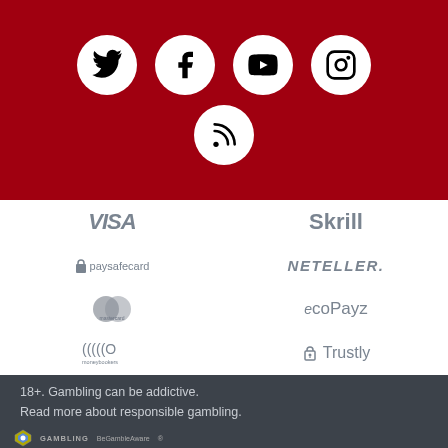[Figure (infographic): Red banner with social media icons: Twitter, Facebook, YouTube, Instagram in white circles on top row, RSS feed icon in white circle on second row centered]
[Figure (infographic): Payment method logos in grey: VISA, Skrill, paysafecard, NETELLER, Mastercard, ecoPayz, Moneybookers, Trustly arranged in two columns]
18+. Gambling can be addictive.
Read more about responsible gambling.
[Figure (logo): Gambling Commission logo and BeGambleAware logo at bottom]